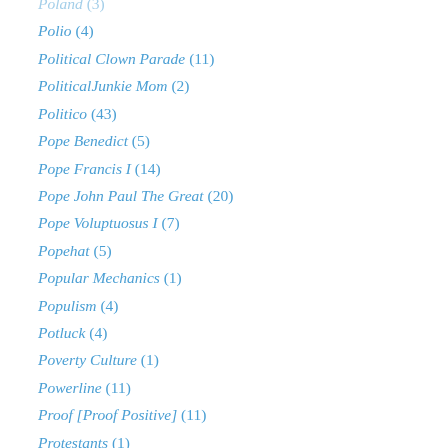Poland (3)
Polio (4)
Political Clown Parade (11)
PoliticalJunkie Mom (2)
Politico (43)
Pope Benedict (5)
Pope Francis I (14)
Pope John Paul The Great (20)
Pope Voluptuosus I (7)
Popehat (5)
Popular Mechanics (1)
Populism (4)
Potluck (4)
Poverty Culture (1)
Powerline (11)
Proof [Proof Positive] (11)
Protestants (1)
Public Discourse (1)
Pundette (165)
Question Of The Day (21)